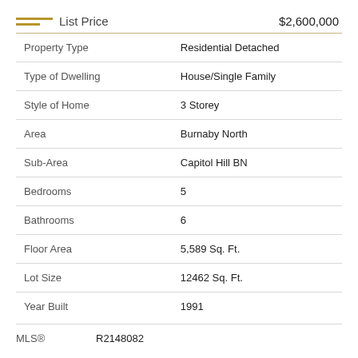| Field | Value |
| --- | --- |
| List Price | $2,600,000 |
| Property Type | Residential Detached |
| Type of Dwelling | House/Single Family |
| Style of Home | 3 Storey |
| Area | Burnaby North |
| Sub-Area | Capitol Hill BN |
| Bedrooms | 5 |
| Bathrooms | 6 |
| Floor Area | 5,589 Sq. Ft. |
| Lot Size | 12462 Sq. Ft. |
| Year Built | 1991 |
| MLS® | R2148082 |